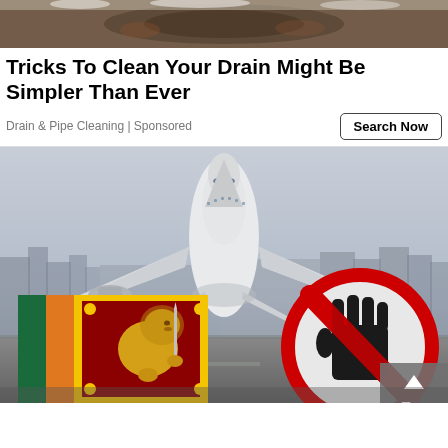[Figure (photo): Close-up photo of a rusty drain cover with white crystalline buildup]
Tricks To Clean Your Drain Might Be Simpler Than Ever
Drain & Pipe Cleaning | Sponsored
[Figure (photo): Composite image showing an airplane taking off, a Sri Lanka flag on the left, and a no-entry hand sign on the right, with a city skyline in the background. A 'Top' button overlay is visible in the bottom right corner.]